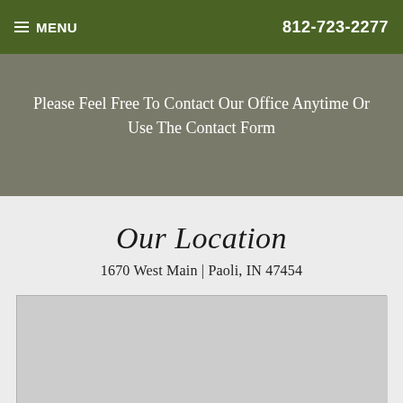≡ MENU   812-723-2277
Please Feel Free To Contact Our Office Anytime Or Use The Contact Form
Our Location
1670 West Main | Paoli, IN 47454
[Figure (map): Embedded map showing the location at 1670 West Main, Paoli, IN 47454]